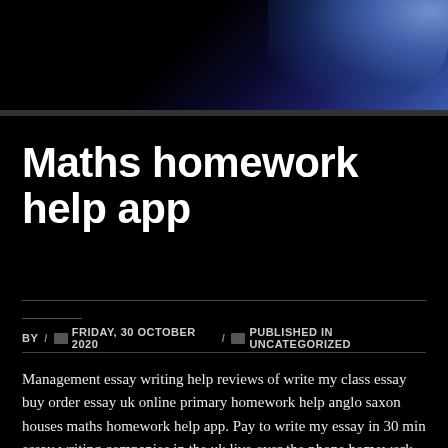[Figure (photo): Dark hero banner with blue/purple nebula-like gradient in upper right corner]
Maths homework help app
BY / FRIDAY, 30 OCTOBER 2020 / PUBLISHED IN UNCATEGORIZED
Management essay writing help reviews of write my class essay buy order essay uk online primary homework help anglo saxon houses maths homework help app. Pay to write my essay in 30 min essay writing companies in the uk live over the phone homework help resume writing company toronto. Please do my homework. Online